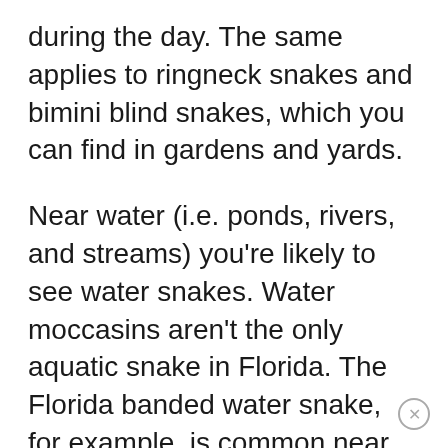during the day. The same applies to ringneck snakes and bimini blind snakes, which you can find in gardens and yards.
Near water (i.e. ponds, rivers, and streams) you're likely to see water snakes. Water moccasins aren't the only aquatic snake in Florida. The Florida banded water snake, for example, is common near bodies of water and is entirely harmless.
But where you're likely to find them, you can normally find cottonmouths. In South Florida, you're likely to find coral snakes, eastern diamondbacks and pygmy rattlesnakes.